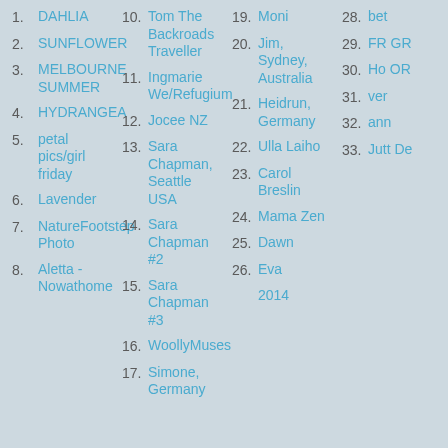1. DAHLIA
2. SUNFLOWER
3. MELBOURNE SUMMER
4. HYDRANGEA
5. petal pics/girl friday
6. Lavender
7. NatureFootstep Photo
8. Aletta - Nowathome
10. Tom The Backroads Traveller
11. Ingmarie We/Refugium
12. Jocee NZ
13. Sara Chapman, Seattle USA
14. Sara Chapman #2
15. Sara Chapman #3
16. WoollyMuses
17. Simone, Germany
19. Moni
20. Jim, Sydney, Australia
21. Heidrun, Germany
22. Ulla Laiho
23. Carol Breslin
24. Mama Zen
25. Dawn
26. Eva
2014
28. bet
29. FR GR
30. Ho OR
31. ver
32. ann
33. Jutt De